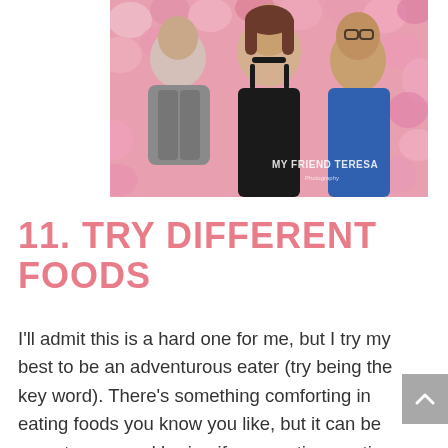[Figure (photo): Three people posing and smiling in front of a pink floral backdrop. A man in a gray suit jacket is on the left, a woman in a black dress is in the center, and a woman in a blue dress with glasses is on the right. A watermark reads 'MY FRIEND TERESA' in the lower right.]
11. TRY DIFFERENT FOODS
I'll admit this is a hard one for me, but I try my best to be an adventurous eater (try being the key word). There's something comforting in eating foods you know you like, but it can be monotonous and boring if you continue eating the same thing day after day. Trying different